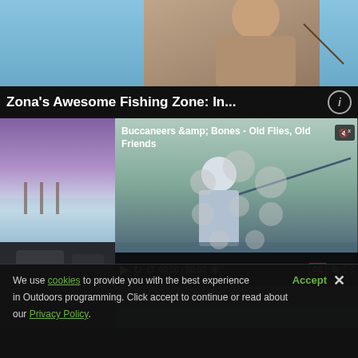[Figure (screenshot): Top portion showing a person fishing, sky background]
Zona's Awesome Fishing Zone: In...
[Figure (screenshot): Video player showing 'Buccaneers &amp; Bones - Old Flies, Old Friends' with video controls showing 00:00 / 00:00, mute, CC, settings, and fullscreen buttons. Left side shows a purple/blue landscape thumbnail and bottom shows a boat interior.]
We use cookies to provide you with the best experience Accept in Outdoors programming. Click accept to continue or read about our Privacy Policy.